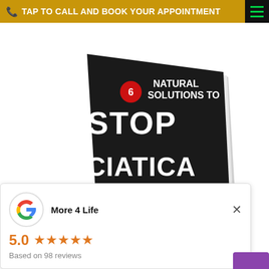TAP TO CALL AND BOOK YOUR APPOINTMENT
[Figure (photo): Book cover titled '6 Natural Solutions to Stop Sciatica' by Dr. Dave Candy, More 4 Life. Dark cover with red subtitle text: 'So you can sit and stand longer without sharp, shooting nerve pain in your back, butt, or legs']
[Figure (infographic): Google review card showing More 4 Life with 5.0 star rating based on 98 reviews]